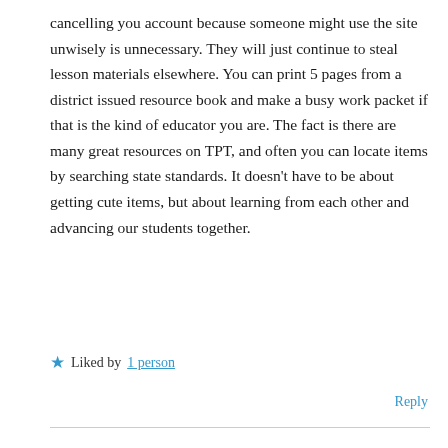cancelling you account because someone might use the site unwisely is unnecessary. They will just continue to steal lesson materials elsewhere. You can print 5 pages from a district issued resource book and make a busy work packet if that is the kind of educator you are. The fact is there are many great resources on TPT, and often you can locate items by searching state standards. It doesn't have to be about getting cute items, but about learning from each other and advancing our students together.
★ Liked by 1 person
Reply